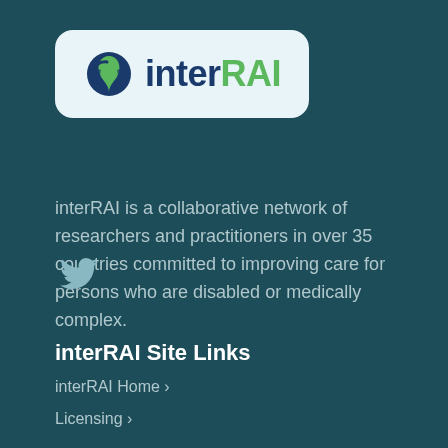[Figure (logo): interRAI logo with blue and green circular icon on light blue rounded rectangle background]
interRAI is a collaborative network of researchers and practitioners in over 35 countries committed to improving care for persons who are disabled or medically complex.
[Figure (illustration): Twitter bird icon in light color on dark teal background]
interRAI Site Links
interRAI Home ›
Licensing ›